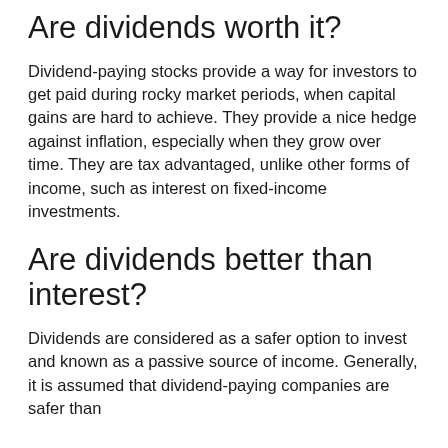Are dividends worth it?
Dividend-paying stocks provide a way for investors to get paid during rocky market periods, when capital gains are hard to achieve. They provide a nice hedge against inflation, especially when they grow over time. They are tax advantaged, unlike other forms of income, such as interest on fixed-income investments.
Are dividends better than interest?
Dividends are considered as a safer option to invest and known as a passive source of income. Generally, it is assumed that dividend-paying companies are safer than